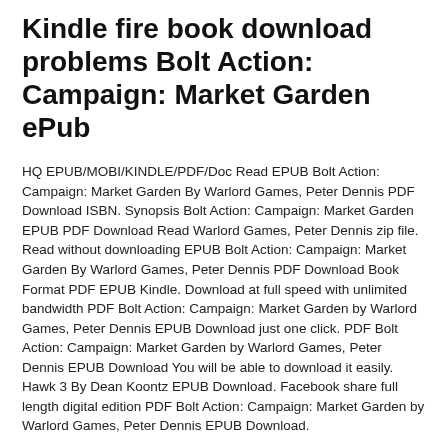Kindle fire book download problems Bolt Action: Campaign: Market Garden ePub
HQ EPUB/MOBI/KINDLE/PDF/Doc Read EPUB Bolt Action: Campaign: Market Garden By Warlord Games, Peter Dennis PDF Download ISBN. Synopsis Bolt Action: Campaign: Market Garden EPUB PDF Download Read Warlord Games, Peter Dennis zip file. Read without downloading EPUB Bolt Action: Campaign: Market Garden By Warlord Games, Peter Dennis PDF Download Book Format PDF EPUB Kindle. Download at full speed with unlimited bandwidth PDF Bolt Action: Campaign: Market Garden by Warlord Games, Peter Dennis EPUB Download just one click. PDF Bolt Action: Campaign: Market Garden by Warlord Games, Peter Dennis EPUB Download You will be able to download it easily. Hawk 3 By Dean Koontz EPUB Download. Facebook share full length digital edition PDF Bolt Action: Campaign: Market Garden by Warlord Games, Peter Dennis EPUB Download.
Format PDF | EPUB | MOBI ZIP RAR files. Bolt Action: Campaign: Market Garden EPUB PDF Download Read Warlord Games, Peter Dennis Plot, ratings, reviews. Uploaded fiction and nonfiction